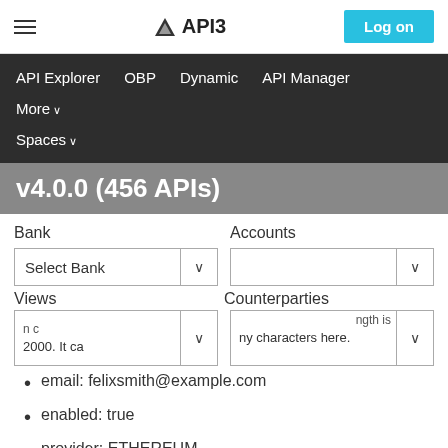API3 — Log on
API Explorer   OBP   Dynamic   API Manager   More   Spaces
v4.0.0 (456 APIs)
Bank
Accounts
Select Bank
Views
Counterparties
n c  ngth is 2000. It ca  ny characters here.
email: felixsmith@example.com
enabled: true
provider: ETHEREUM